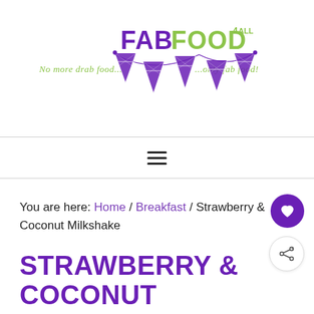[Figure (logo): FabFood4All logo with purple bunting flags and tagline 'No more drab food... ...only fab food!']
☰
You are here: Home / Breakfast / Strawberry & Coconut Milkshake
STRAWBERRY & COCONUT MILKSHAKE